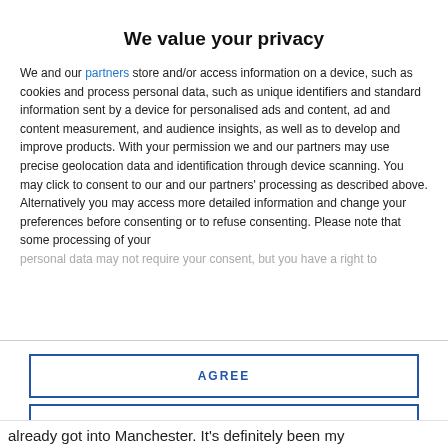[Figure (photo): Top strip showing a partially visible photograph strip at the top of the page]
We value your privacy
We and our partners store and/or access information on a device, such as cookies and process personal data, such as unique identifiers and standard information sent by a device for personalised ads and content, ad and content measurement, and audience insights, as well as to develop and improve products. With your permission we and our partners may use precise geolocation data and identification through device scanning. You may click to consent to our and our partners' processing as described above. Alternatively you may access more detailed information and change your preferences before consenting or to refuse consenting. Please note that some processing of your personal data may not require your consent, but you have a right to
AGREE
MORE OPTIONS
already got into Manchester. It's definitely been my